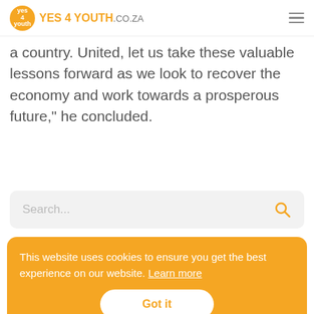YES 4 YOUTH .CO.ZA
a country. United, let us take these valuable lessons forward as we look to recover the economy and work towards a prosperous future," he concluded.
[Figure (other): Search bar with placeholder text 'Search...' and orange search icon on right]
This website uses cookies to ensure you get the best experience on our website. Learn more
Got it
discuss how continued partnerships with